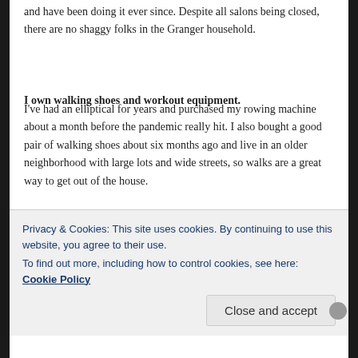and have been doing it ever since. Despite all salons being closed, there are no shaggy folks in the Granger household.
I own walking shoes and workout equipment.
I've had an elliptical for years and purchased my rowing machine about a month before the pandemic really hit. I also bought a good pair of walking shoes about six months ago and live in an older neighborhood with large lots and wide streets, so walks are a great way to get out of the house.
We don't have kids.
We want to do the baby thing soon, but we haven't gotten around to it just yet and I've gotta say, what a time to be
Privacy & Cookies: This site uses cookies. By continuing to use this website, you agree to their use.
To find out more, including how to control cookies, see here: Cookie Policy
Close and accept